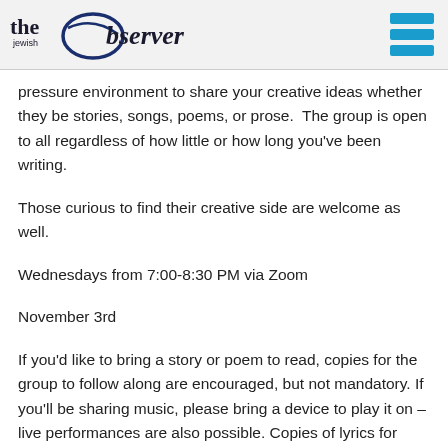the jewish Observer
pressure environment to share your creative ideas whether they be stories, songs, poems, or prose.  The group is open to all regardless of how little or how long you've been writing.
Those curious to find their creative side are welcome as well.
Wednesdays from 7:00-8:30 PM via Zoom
November 3rd
If you'd like to bring a story or poem to read, copies for the group to follow along are encouraged, but not mandatory. If you'll be sharing music, please bring a device to play it on – live performances are also possible. Copies of lyrics for songs are again encouraged, but not mandatory. For more information and